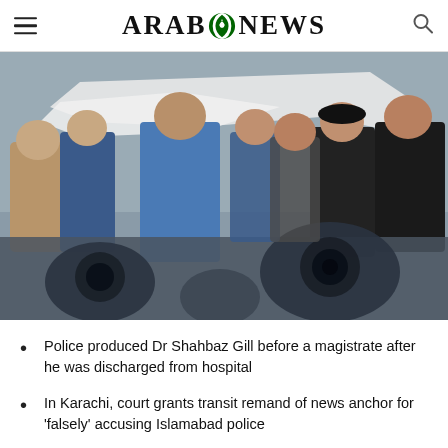ARAB NEWS
[Figure (photo): Crowd scene showing Dr Shahbaz Gill being escorted by police officers through a group of people, some holding a white sheet overhead. Journalists with cameras visible in foreground.]
Police produced Dr Shahbaz Gill before a magistrate after he was discharged from hospital
In Karachi, court grants transit remand of news anchor for 'falsely' accusing Islamabad police